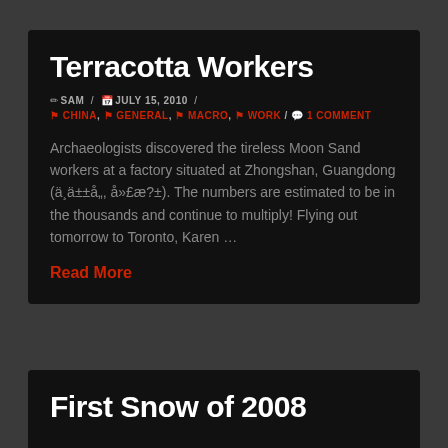Terracotta Workers
✏ SAM / 📅 JULY 15, 2010 /
🔖 CHINA, 🔖 GENERAL, 🔖 MACRO, 🔖 WORK / 💬 1 COMMENT
Archaeologists discovered the tireless Moon Sand workers at a factory situated at Zhongshan, Guangdong (ä¸ä±±å„, å»£æ?±). The numbers are estimated to be in the thousands and continue to multiply! Flying out tomorrow to Toronto, Karen …
Read More
First Snow of 2008